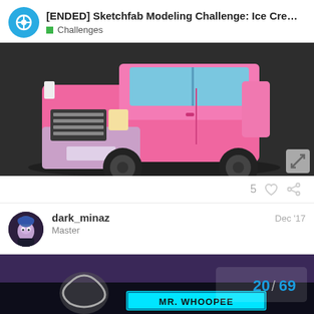[ENDED] Sketchfab Modeling Challenge: Ice Cre... — Challenges
[Figure (screenshot): 3D model of a pink ice cream truck rendered in low-poly style on a dark grey background, with an expand icon in the bottom right corner.]
5
dark_minaz
Master
Dec '17
[Figure (screenshot): Partial bottom image showing a dark scene with a cyan 'MR. WHOOPEE' sign and a pagination indicator '20 / 69' in blue.]